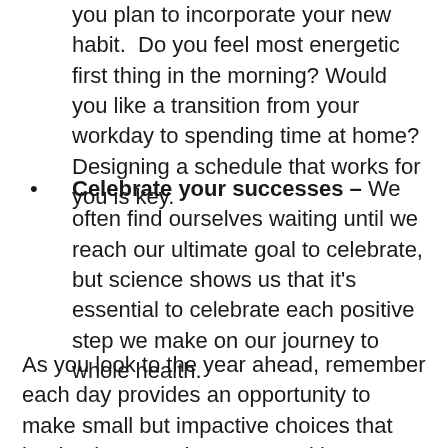you plan to incorporate your new habit.  Do you feel most energetic first thing in the morning? Would you like a transition from your workday to spending time at home? Designing a schedule that works for you is key.
Celebrate your successes – We often find ourselves waiting until we reach our ultimate goal to celebrate, but science shows us that it's essential to celebrate each positive step we make on our journey to whole health.
As you look to the year ahead, remember each day provides an opportunity to make small but impactive choices that lead to increased energy, positive connections, restorative sleep, sharper minds, and